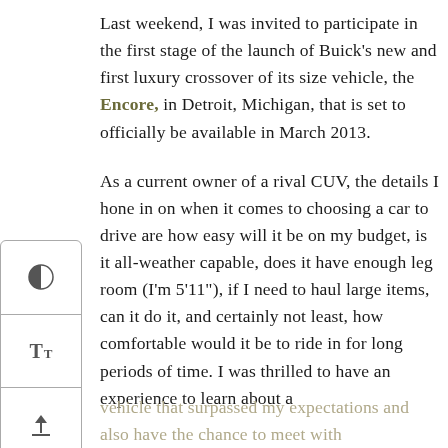Last weekend, I was invited to participate in the first stage of the launch of Buick's new and first luxury crossover of its size vehicle, the Encore, in Detroit, Michigan, that is set to officially be available in March 2013.
As a current owner of a rival CUV, the details I hone in on when it comes to choosing a car to drive are how easy will it be on my budget, is it all-weather capable, does it have enough leg room (I'm 5'11"), if I need to haul large items, can it do it, and certainly not least, how comfortable would it be to ride in for long periods of time. I was thrilled to have an experience to learn about a vehicle that surpassed my expectations and also have the chance to meet with
[Figure (other): Sidebar toolbar with three icons: a half-filled circle (contrast/brightness), a text size adjuster (Tt), and an upward arrow button.]